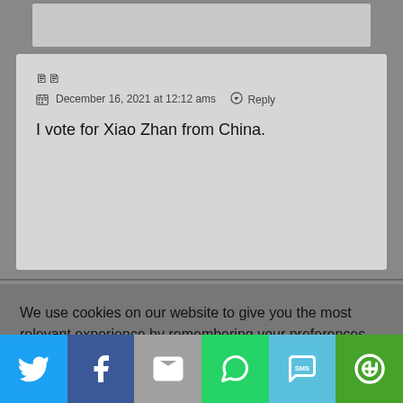[Figure (screenshot): Top cropped content bar, partially visible]
🔲🔲
December 16, 2021 at 12:12 ams   Reply
I vote for Xiao Zhan from China.
We use cookies on our website to give you the most relevant experience by remembering your preferences and repeat visits. By clicking "Accept All", you consent to the use of ALL the cookies. However, you may visit "Cookie Settings" to provide a controlled consent.
[Figure (infographic): Social sharing bar with Twitter, Facebook, Email, WhatsApp, SMS, and More buttons]